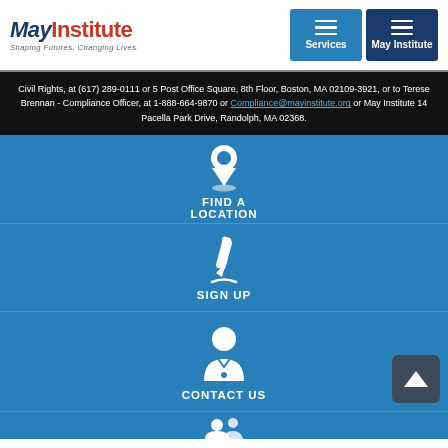[Figure (logo): May Institute logo with tagline 'Shaping Futures. Changing Lives.']
[Figure (screenshot): Navigation buttons: Services and May Institute with hamburger menu icons]
Civil Rights, at (617) 289-0111 or 5 Post Office Square, 8th Floor, Boston, MA 02109-3921, or to Terese Brennan - Compliance Officer, at 1-888-664-9870 or Compliance@mayinstitute.org or May Institute 14 Pacella Park Drive, Randolph, MA 02368.
[Figure (infographic): FIND A LOCATION - map pin icon on blue background]
[Figure (infographic): SIGN UP - pencil/edit icon on blue background]
[Figure (infographic): CONTACT US - person/avatar icon on blue background with back-to-top arrow button]
[Figure (infographic): Partially visible fourth blue section with person/community icon]